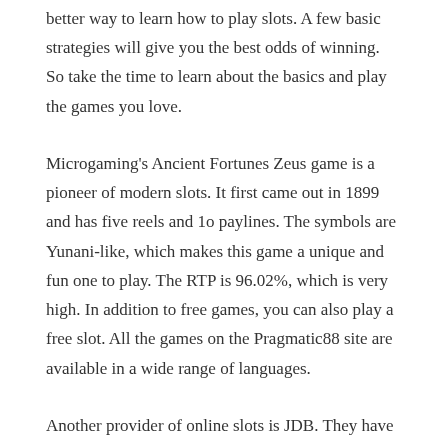better way to learn how to play slots. A few basic strategies will give you the best odds of winning. So take the time to learn about the basics and play the games you love.
Microgaming's Ancient Fortunes Zeus game is a pioneer of modern slots. It first came out in 1899 and has five reels and 1o paylines. The symbols are Yunani-like, which makes this game a unique and fun one to play. The RTP is 96.02%, which is very high. In addition to free games, you can also play a free slot. All the games on the Pragmatic88 site are available in a wide range of languages.
Another provider of online slots is JDB. They have fair games, jackpots, and a worldwide reach. These two companies offer free slots and casino games, as well as mobile slots. The JDB casino slot has many games to choose from, and the Playtech casino game has more than a few hundred. You can find many different slots games, including video poker and other variations of slots.